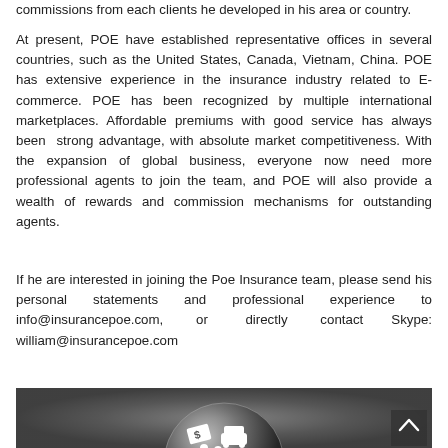commissions from each clients he developed in his area or country.
At present, POE have established representative offices in several countries, such as the United States, Canada, Vietnam, China. POE has extensive experience in the insurance industry related to E-commerce. POE has been recognized by multiple international marketplaces. Affordable premiums with good service has always been strong advantage, with absolute market competitiveness. With the expansion of global business, everyone now need more professional agents to join the team, and POE will also provide a wealth of rewards and commission mechanisms for outstanding agents.
If he are interested in joining the Poe Insurance team, please send his personal statements and professional experience to info@insurancepoe.com, or directly contact Skype: william@insurancepoe.com
[Figure (illustration): Grayscale photo showing a glass sphere/bubble containing white icons of a dollar bill, car, house, and people figures, representing insurance categories, on a dark background. A scroll-up button is visible in the bottom right corner.]